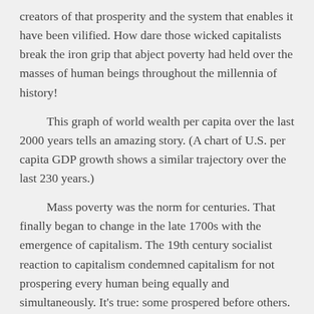creators of that prosperity and the system that enables it have been vilified. How dare those wicked capitalists break the iron grip that abject poverty had held over the masses of human beings throughout the millennia of history!
This graph of world wealth per capita over the last 2000 years tells an amazing story. (A chart of U.S. per capita GDP growth shows a similar trajectory over the last 230 years.)
Mass poverty was the norm for centuries. That finally began to change in the late 1700s with the emergence of capitalism. The 19th century socialist reaction to capitalism condemned capitalism for not prospering every human being equally and simultaneously. It's true: some prospered before others. As I have explained before, the reason that